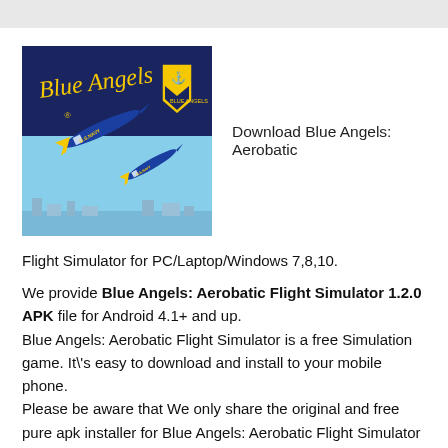[Figure (photo): Blue Angels: Aerobatic Flight Simulator app icon showing two blue U.S. Navy jets flying against a blue sky, with the Blue Angels logo and shield emblem at top.]
Download Blue Angels: Aerobatic
Flight Simulator for PC/Laptop/Windows 7,8,10.
We provide Blue Angels: Aerobatic Flight Simulator 1.2.0 APK file for Android 4.1+ and up.
Blue Angels: Aerobatic Flight Simulator is a free Simulation game. It\'s easy to download and install to your mobile phone.
Please be aware that We only share the original and free pure apk installer for Blue Angels: Aerobatic Flight Simulator 1.2.0 APK